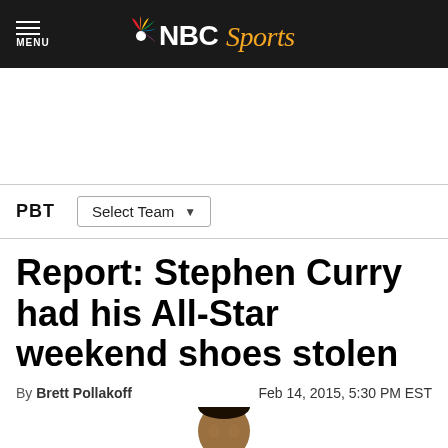NBC Sports
[Figure (screenshot): NBC Sports logo with peacock icon in header]
PBT   Select Team
Report: Stephen Curry had his All-Star weekend shoes stolen
By Brett Pollakoff   Feb 14, 2015, 5:30 PM EST
[Figure (photo): Photo of Stephen Curry (partial, head/shoulders)]